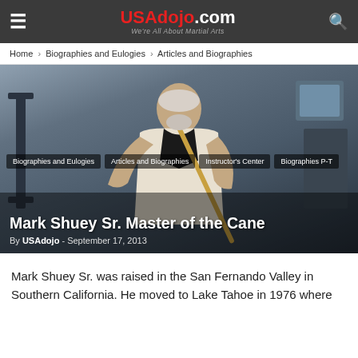USAdojo.com — We're All About Martial Arts
Home › Biographies and Eulogies › Articles and Biographies
[Figure (photo): Martial artist Mark Shuey Sr. in a gym holding a cane, wearing a black-collared gi, photographed from a low angle with gym equipment visible in the background.]
Biographies and Eulogies
Articles and Biographies
Instructor's Center
Biographies P-T
Mark Shuey Sr. Master of the Cane
By USAdojo - September 17, 2013
Mark Shuey Sr. was raised in the San Fernando Valley in Southern California. He moved to Lake Tahoe in 1976 where